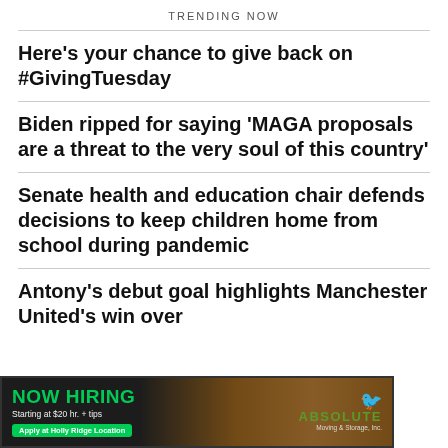TRENDING NOW
Here's your chance to give back on #GivingTuesday
Biden ripped for saying 'MAGA proposals are a threat to the very soul of this country'
Senate health and education chair defends decisions to keep children home from school during pandemic
Antony's debut goal highlights Manchester United's win over...
[Figure (advertisement): NOW HIRING ad banner for Absolute Moving & Storage, Inc. Starting at $20 hr. + tips, Apply at Holly Ridge Location. Green and dark background with sunset truck image.]